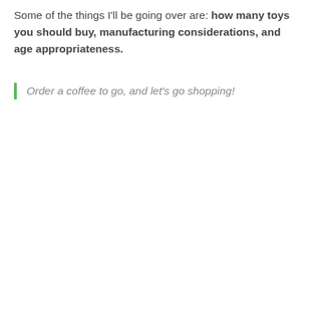Some of the things I'll be going over are: how many toys you should buy, manufacturing considerations, and age appropriateness.
Order a coffee to go, and let's go shopping!